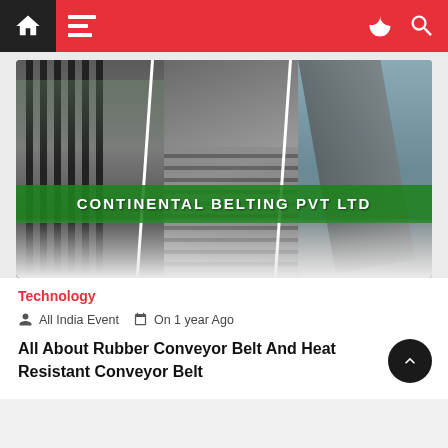Navigation bar with home, menu, dark mode, and search icons
[Figure (photo): Industrial conveyor belt facility image split into three panels with green banner overlay reading CONTINENTAL BELTING PVT LTD]
Technology
All India Event  On 1 year Ago
All About Rubber Conveyor Belt And Heat Resistant Conveyor Belt